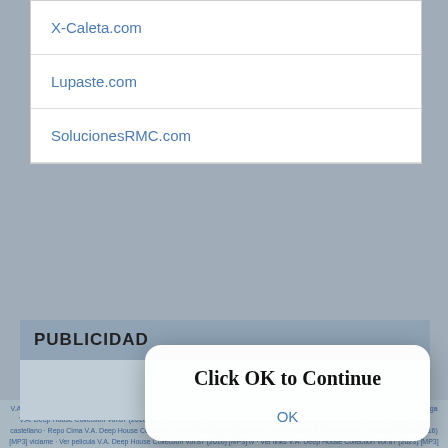X-Caleta.com
Lupaste.com
SolucionesRMC.com
PUBLICIDAD
[Figure (screenshot): Modal dialog with text 'Click OK to Continue' and an OK button]
[Figure (screenshot): Ad banner with photo, text 'Hey Cutie ;) Want to see my Photos?' with Ad label and close button]
V.A. Deep House Collection Vol.87 (2016) [MP3] - descargar programa V.A. Deep House Collection Vol 87 (2016) [MP3] online - Descarga Cymer V.A. Deep House Collection Vol.87 (2016) [MP3] castellano - Descarga Discovercat V.A. Deep House Collection Vol.87 (2016) [MP3] castellano - Repo Cima V.A. Deep House Collection Vol.87 (2016) [MP3] solitarios - Ver pelicula V.A. Deep House Collection Vol.87 (2016)[MP3] viciame - Ver pelicula V.A. Deep House Collection Vol.87 (2016) [MP3] tv - Ver links V.A. Deep House Collection Vol.87 (2023) [MP3] - Ver capitulo V.A. Deep House Collection Vol.87 (2016) [MP3] pazocines - Ver capitulo V.A. Deep House Collection (Vol.87 (2016) [MP3] espanol - Ver pelicula V.A. Deep House Collection Vol.87 (2016) [MP3] ensedas - Descargar V.A. Deep House Collection Vol.87 (2016) [MP3] gratis - Descargar V.A. Deep House Collection Vol.87 (2016) [MP3]